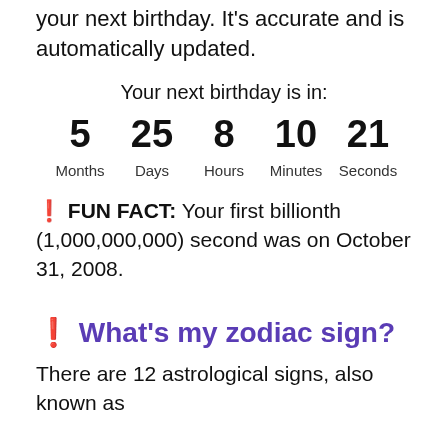your next birthday. It's accurate and is automatically updated.
Your next birthday is in:
5 Months  25 Days  8 Hours  10 Minutes  21 Seconds
🔔 FUN FACT: Your first billionth (1,000,000,000) second was on October 31, 2008.
🔔 What's my zodiac sign?
There are 12 astrological signs, also known as